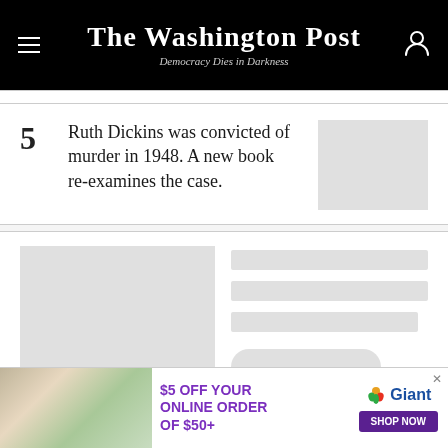The Washington Post — Democracy Dies in Darkness
5 Ruth Dickins was convicted of murder in 1948. A new book re-examines the case.
[Figure (photo): Thumbnail image placeholder (light gray rectangle)]
[Figure (photo): Large article image placeholder (light gray rectangle)]
[Figure (other): Loading skeleton UI with gray placeholder lines and a pill-shaped button]
[Figure (infographic): Giant Food advertisement: $5 OFF YOUR ONLINE ORDER OF $50+, SHOP NOW]